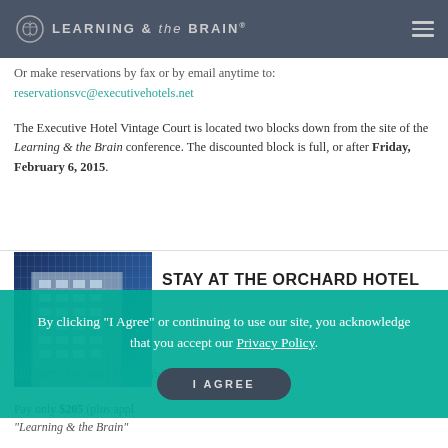LEARNING & the BRAIN®
Or make reservations by fax or by email anytime to: reservationsvc@executivehotels.net
The Executive Hotel Vintage Court is located two blocks down from the site of the Learning & the Brain conference. The discounted block is full, or after Friday, February 6, 2015.
STAY AT THE ORCHARD HOTEL
[Figure (photo): Photo of a tall hotel building with glass and concrete facade against a blue sky]
UPDATE: This hotel block is full.
By clicking "I Agree" or continuing to use our site, you acknowledge that you accept our Privacy Policy.
Pay only $205 (plus applicable taxes). Call The Orchard Hotel and mention "Learning & the Brain" in order to get this discounted rate.